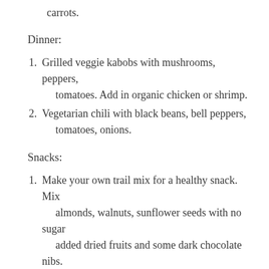carrots.
Dinner:
Grilled veggie kabobs with mushrooms, peppers, tomatoes.  Add in organic chicken or shrimp.
Vegetarian chili with black beans, bell peppers, tomatoes, onions.
Snacks:
Make your own trail mix for a healthy snack.  Mix almonds, walnuts, sunflower seeds with no sugar added dried fruits and some dark chocolate nibs.
Keep fresh fruits and vegetables around for easy snacks.  Dip fruit in fresh ground almond butter.  Dip